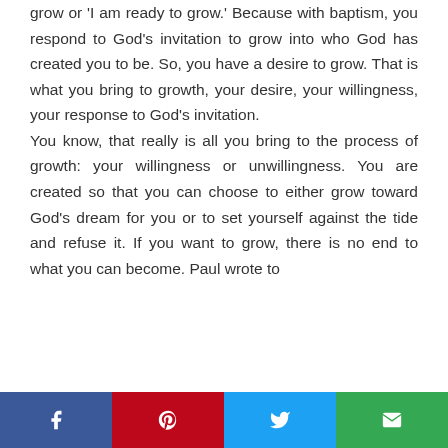grow or 'I am ready to grow.' Because with baptism, you respond to God's invitation to grow into who God has created you to be. So, you have a desire to grow. That is what you bring to growth, your desire, your willingness, your response to God's invitation.

You know, that really is all you bring to the process of growth: your willingness or unwillingness. You are created so that you can choose to either grow toward God's dream for you or to set yourself against the tide and refuse it. If you want to grow, there is no end to what you can become. Paul wrote to
Social share bar: Facebook, Pinterest, Twitter, Email